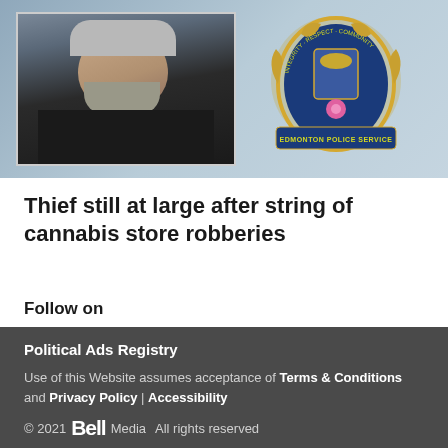[Figure (photo): Split image: left side shows a surveillance photo of a male suspect wearing dark hoodie and grey hat; right side shows the Edmonton Police Service official crest/logo on a light blue background]
Thief still at large after string of cannabis store robberies
Follow on
[Figure (other): Social media icons: Facebook (f), Twitter (bird), Instagram (camera)]
Political Ads Registry
Use of this Website assumes acceptance of Terms & Conditions and Privacy Policy | Accessibility
© 2021 Bell Media All rights reserved